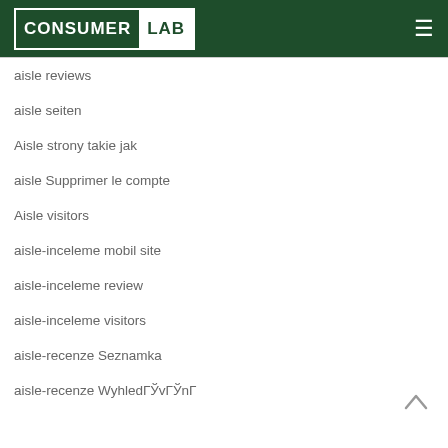Consumer Lab
aisle reviews
aisle seiten
Aisle strony takie jak
aisle Supprimer le compte
Aisle visitors
aisle-inceleme mobil site
aisle-inceleme review
aisle-inceleme visitors
aisle-recenze Seznamka
aisle-recenze WyhledГЎvГЎnГ